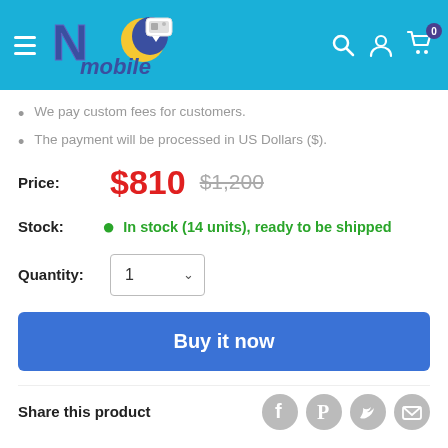NC Mobile header with logo, search, account, and cart icons
We pay custom fees for customers.
The payment will be processed in US Dollars ($).
Price: $810  $1,200
Stock: In stock (14 units), ready to be shipped
Quantity: 1
Buy it now
Share this product